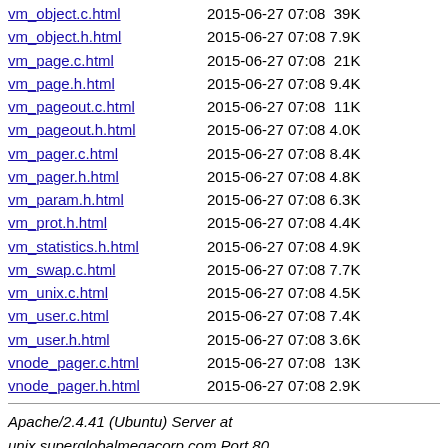vm_object.c.html    2015-06-27 07:08  39K
vm_object.h.html    2015-06-27 07:08 7.9K
vm_page.c.html      2015-06-27 07:08  21K
vm_page.h.html      2015-06-27 07:08 9.4K
vm_pageout.c.html   2015-06-27 07:08  11K
vm_pageout.h.html   2015-06-27 07:08 4.0K
vm_pager.c.html     2015-06-27 07:08 8.4K
vm_pager.h.html     2015-06-27 07:08 4.8K
vm_param.h.html     2015-06-27 07:08 6.3K
vm_prot.h.html      2015-06-27 07:08 4.4K
vm_statistics.h.html 2015-06-27 07:08 4.9K
vm_swap.c.html      2015-06-27 07:08 7.7K
vm_unix.c.html      2015-06-27 07:08 4.5K
vm_user.c.html      2015-06-27 07:08 7.4K
vm_user.h.html      2015-06-27 07:08 3.6K
vnode_pager.c.html  2015-06-27 07:08  13K
vnode_pager.h.html  2015-06-27 07:08 2.9K
Apache/2.4.41 (Ubuntu) Server at unix.superglobalmegacorp.com Port 80